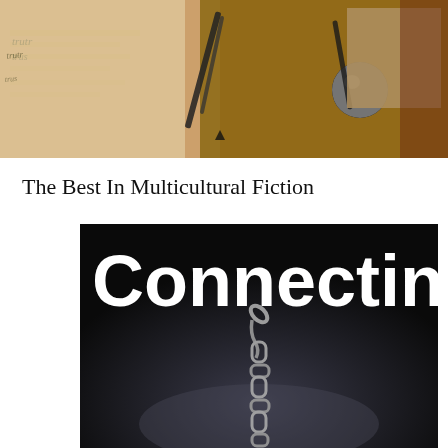[Figure (photo): A banner image showing writing implements including a fountain pen nib and a metallic pen/stamp on a warm amber/brown surface with partial text visible on paper, plus a muted tan rectangular block in the upper right corner.]
The Best In Multicultural Fiction
[Figure (photo): A dark square image featuring the bold white word 'Connecting' at the top over a dark background, with a metal chain hanging down from the center of the image into the lower portion of the frame.]